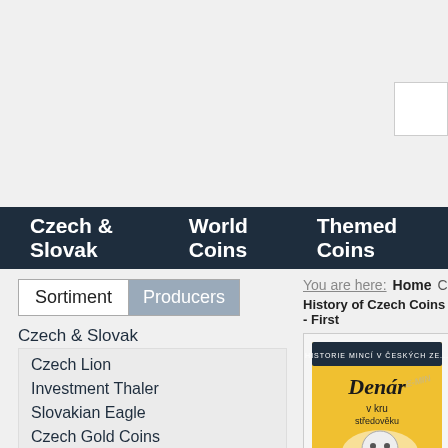Czech & Slovak   World Coins   Themed Coins
Sortiment
Producers
Czech & Slovak
Czech Lion
Investment Thaler
Slovakian Eagle
Czech Gold Coins
Czech Silver Coins
Czech Mint Sets
Czech Medals
Slovak Gold Coins
Slovak Silver Coins
Slovak Mint Sets
You are here:   Home   C
History of Czech Coins - First
[Figure (photo): Book cover of 'Denár v kruhu středověku' - a yellow book about History of Czech Coins with a cartoon wolf/dog illustration]